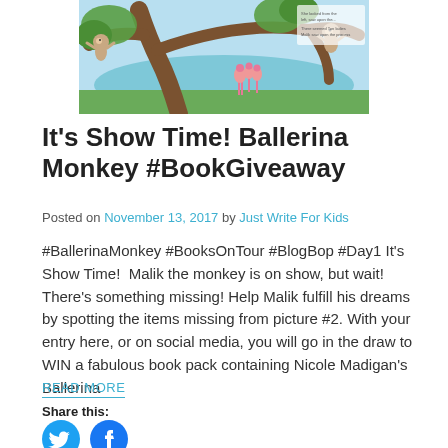[Figure (illustration): Illustration from Ballerina Monkey book showing cartoon monkeys sitting on tree branches with flamingos and a blue lake/sky in background]
It's Show Time! Ballerina Monkey #BookGiveaway
Posted on November 13, 2017 by Just Write For Kids
#BallerinaMonkey #BooksOnTour #BlogBop #Day1 It's Show Time!  Malik the monkey is on show, but wait! There's something missing! Help Malik fulfill his dreams by spotting the items missing from picture #2. With your entry here, or on social media, you will go in the draw to WIN a fabulous book pack containing Nicole Madigan's Ballerina
READ MORE
Share this:
[Figure (logo): Twitter bird icon social share button (cyan circle)]
[Figure (logo): Facebook 'f' icon social share button (blue circle)]